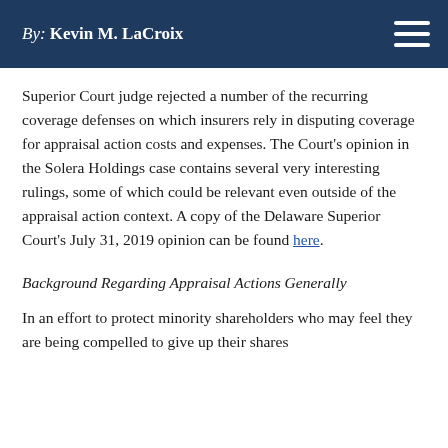By: Kevin M. LaCroix
Superior Court judge rejected a number of the recurring coverage defenses on which insurers rely in disputing coverage for appraisal action costs and expenses. The Court's opinion in the Solera Holdings case contains several very interesting rulings, some of which could be relevant even outside of the appraisal action context. A copy of the Delaware Superior Court's July 31, 2019 opinion can be found here.
Background Regarding Appraisal Actions Generally
In an effort to protect minority shareholders who may feel they are being compelled to give up their shares